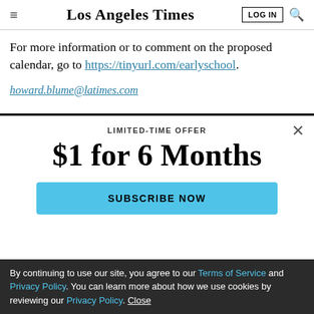Los Angeles Times
For more information or to comment on the proposed calendar, go to https://tinyurl.com/earlyschool.
howard.blume@latimes.com
LIMITED-TIME OFFER
$1 for 6 Months
SUBSCRIBE NOW
By continuing to use our site, you agree to our Terms of Service and Privacy Policy. You can learn more about how we use cookies by reviewing our Privacy Policy. Close